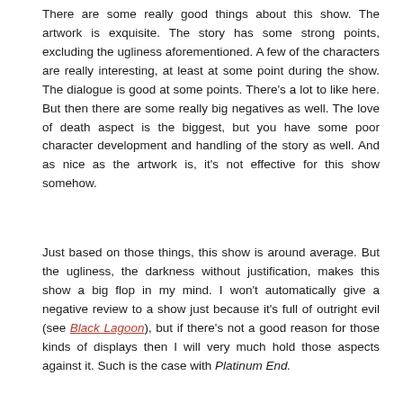There are some really good things about this show. The artwork is exquisite. The story has some strong points, excluding the ugliness aforementioned. A few of the characters are really interesting, at least at some point during the show. The dialogue is good at some points. There's a lot to like here. But then there are some really big negatives as well. The love of death aspect is the biggest, but you have some poor character development and handling of the story as well. And as nice as the artwork is, it's not effective for this show somehow.
Just based on those things, this show is around average. But the ugliness, the darkness without justification, makes this show a big flop in my mind. I won't automatically give a negative review to a show just because it's full of outright evil (see Black Lagoon), but if there's not a good reason for those kinds of displays then I will very much hold those aspects against it. Such is the case with Platinum End.
Some R-rated content in this review, so be advised.
[Figure (other): Star rating: 1.5 out of 5 stars (one full red star, one half red star, three empty stars)]
[Figure (photo): Two anime screenshots side by side. Left: a dark-haired male anime character with red accents, looking distressed against a golden/teal background. Right: a brown-haired female anime character with a light on her forehead, against a warm background.]